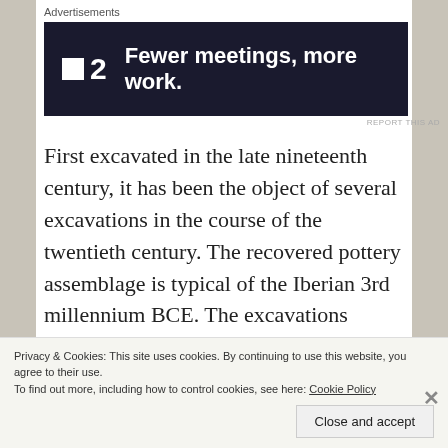Advertisements
[Figure (logo): Advertisement banner: dark background with logo showing a small white square and '2', tagline 'Fewer meetings, more work.']
First excavated in the late nineteenth century, it has been the object of several excavations in the course of the twentieth century. The recovered pottery assemblage is typical of the Iberian 3rd millennium BCE. The excavations recovered (among other findings) a set of beads of different shapes made from various raw materials, including a zoomorphic schist pendant, a blue glass bead (possibly Bronze Age), green beads (talc, muscovite and variscite), limonite beads, fluorite beads (one of
Privacy & Cookies: This site uses cookies. By continuing to use this website, you agree to their use.
To find out more, including how to control cookies, see here: Cookie Policy